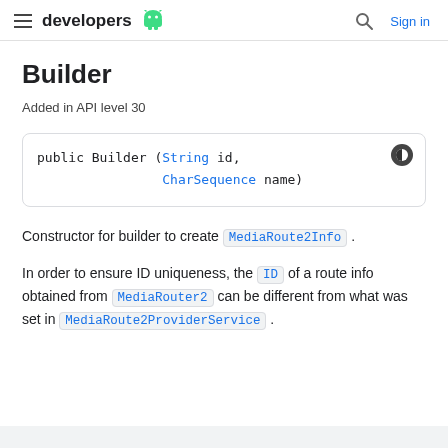developers | Sign in
Builder
Added in API level 30
Constructor for builder to create MediaRoute2Info.
In order to ensure ID uniqueness, the ID of a route info obtained from MediaRouter2 can be different from what was set in MediaRoute2ProviderService.